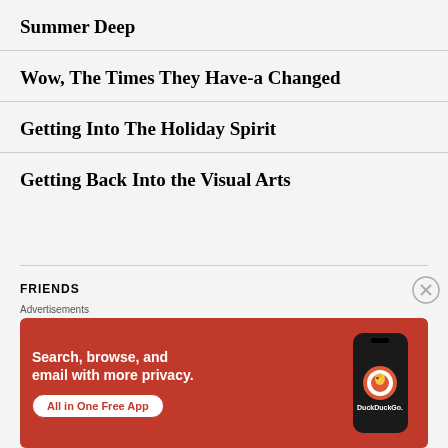Summer Deep
Wow, The Times They Have-a Changed
Getting Into The Holiday Spirit
Getting Back Into the Visual Arts
FRIENDS
[Figure (other): DuckDuckGo advertisement banner with orange background showing a smartphone. Text: 'Search, browse, and email with more privacy. All in One Free App'. DuckDuckGo branding visible on phone screen.]